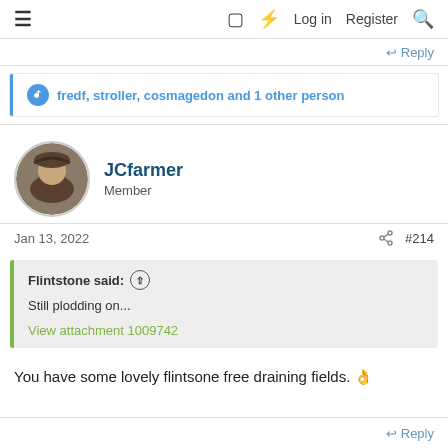≡  □ ⚡ Log in  Register  🔍
↩ Reply
fredf, stroller, cosmagedon and 1 other person
JCfarmer
Member
Jan 13, 2022  #214
Flintstone said: ↑

Still plodding on...

View attachment 1009742
You have some lovely flintsone free draining fields. 👍
↩ Reply